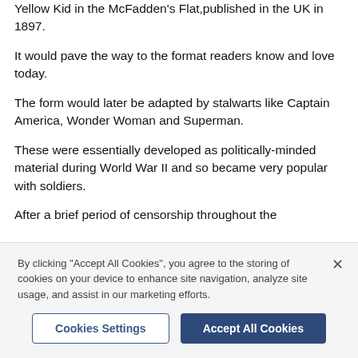Yellow Kid in the McFadden's Flat, published in the UK in 1897.
It would pave the way to the format readers know and love today.
The form would later be adapted by stalwarts like Captain America, Wonder Woman and Superman.
These were essentially developed as politically-minded material during World War II and so became very popular with soldiers.
After a brief period of censorship throughout the
By clicking "Accept All Cookies", you agree to the storing of cookies on your device to enhance site navigation, analyze site usage, and assist in our marketing efforts.
Cookies Settings
Accept All Cookies